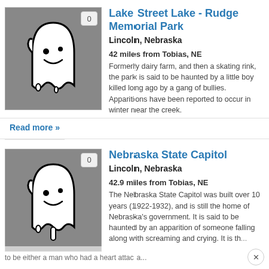[Figure (illustration): Ghost cartoon illustration on gray background with badge showing '0']
Lake Street Lake - Rudge Memorial Park
Lincoln, Nebraska
42 miles from Tobias, NE
Formerly dairy farm, and then a skating rink, the park is said to be haunted by a little boy killed long ago by a gang of bullies. Apparitions have been reported to occur in winter near the creek.
Read more »
[Figure (illustration): Ghost cartoon illustration on gray background with badge showing '0']
Nebraska State Capitol
Lincoln, Nebraska
42.9 miles from Tobias, NE
The Nebraska State Capitol was built over 10 years (1922-1932), and is still the home of Nebraska's government. It is said to be haunted by an apparition of someone falling along with screaming and crying. It is thought to be either a man who had a heart attack a...